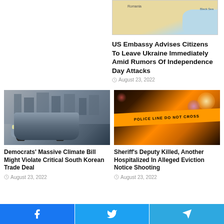[Figure (map): Map showing Romania and Black Sea region]
US Embassy Advises Citizens To Leave Ukraine Immediately Amid Rumors Of Independence Day Attacks
August 23, 2022
[Figure (photo): Autonomous vehicle / self-driving car on city street]
Democrats' Massive Climate Bill Might Violate Critical South Korean Trade Deal
August 23, 2022
[Figure (photo): Police line do not cross tape at night crime scene]
Sheriff's Deputy Killed, Another Hospitalized In Alleged Eviction Notice Shooting
August 23, 2022